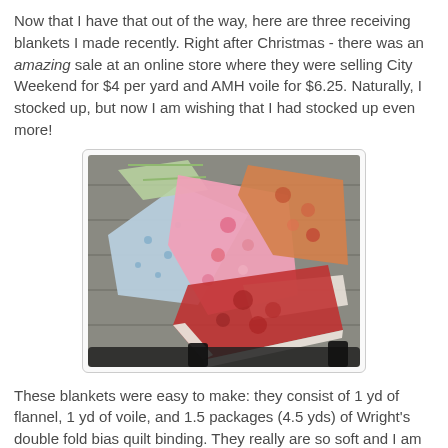Now that I have that out of the way, here are three receiving blankets I made recently. Right after Christmas - there was an amazing sale at an online store where they were selling City Weekend for $4 per yard and AMH voile for $6.25. Naturally, I stocked up, but now I am wishing that I had stocked up even more!
[Figure (photo): Photo of three folded receiving blankets laid out on a wooden deck surface. The blankets show different fabrics: a blue polka dot flannel, a pink floral print, and a red/orange print with a white border binding.]
These blankets were easy to make: they consist of 1 yd of flannel, 1 yd of voile, and 1.5 packages (4.5 yds) of Wright's double fold bias quilt binding. They really are so soft and I am very happy with how they turned out.
[Figure (photo): Partial photo visible at bottom of page, showing another view of the receiving blankets.]